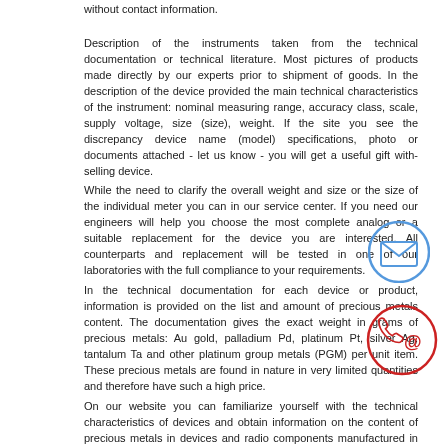without contact information.
Description of the instruments taken from the technical documentation or technical literature. Most pictures of products made directly by our experts prior to shipment of goods. In the description of the device provided the main technical characteristics of the instrument: nominal measuring range, accuracy class, scale, supply voltage, size (size), weight. If the site you see the discrepancy device name (model) specifications, photo or documents attached - let us know - you will get a useful gift with-selling device.
While the need to clarify the overall weight and size or the size of the individual meter you can in our service center. If you need our engineers will help you choose the most complete analog or a suitable replacement for the device you are interested. All counterparts and replacement will be tested in one of our laboratories with the full compliance to your requirements.
In the technical documentation for each device or product, information is provided on the list and amount of precious metals content. The documentation gives the exact weight in grams of precious metals: Au gold, palladium Pd, platinum Pt, silver Ag, tantalum Ta and other platinum group metals (PGM) per unit item. These precious metals are found in nature in very limited quantities and therefore have such a high price.
On our website you can familiarize yourself with the technical characteristics of devices and obtain information on the content of precious metals in devices and radio components manufactured in the USSR. We draw your attention to the fact that often the actual content of precious metals differs by 10-25% from the reference one in smaller direction! The price of precious metals will depend on their value and mass in grams.
All text and graphic information on the site is informative. The color, shade, material, geometric dimensions, weight, content, delivery set and other parameters of the goods presented on the site may vary depending on the batch of production and year of manufacture. Check with the sales department for more information.
If you can make repairs to the device yourself, our engineers can provide you with a complete set of necessary technical documentation: circuit diagram TO, ER, FD, PS. We also have an extensive database of technical and metrological documents: technical
[Figure (illustration): Envelope icon inside a blue circle (contact/email icon)]
[Figure (illustration): Phone with @ symbol inside a red circle (contact phone icon)]